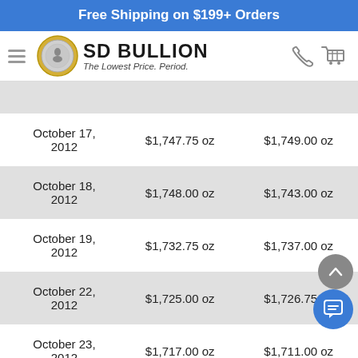Free Shipping on $199+ Orders
[Figure (logo): SD Bullion logo with coin image, text 'SD BULLION The Lowest Price. Period.']
| Date | Bid | Ask |
| --- | --- | --- |
| October 17, 2012 | $1,747.75 oz | $1,749.00 oz |
| October 18, 2012 | $1,748.00 oz | $1,743.00 oz |
| October 19, 2012 | $1,732.75 oz | $1,737.00 oz |
| October 22, 2012 | $1,725.00 oz | $1,726.75 oz |
| October 23, 2012 | $1,717.00 oz | $1,711.00 oz |